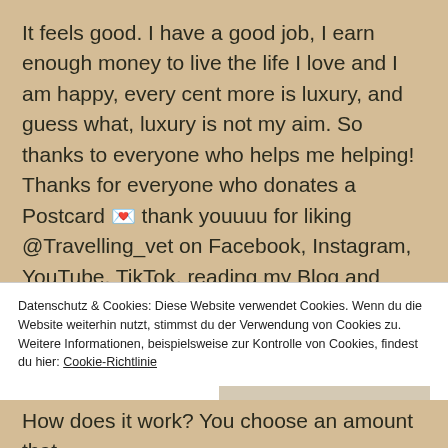It feels good. I have a good job, I earn enough money to live the life I love and I am happy, every cent more is luxury, and guess what, luxury is not my aim. So thanks to everyone who helps me helping! Thanks for everyone who donates a Postcard 💌 thank youuuu for liking @Travelling_vet on Facebook, Instagram, YouTube, TikTok, reading my Blog and listening to our Podcast!! Travelling_vet and Donate a Postcard
Datenschutz & Cookies: Diese Website verwendet Cookies. Wenn du die Website weiterhin nutzt, stimmst du der Verwendung von Cookies zu. Weitere Informationen, beispielsweise zur Kontrolle von Cookies, findest du hier: Cookie-Richtlinie
Schließen und Akzeptieren
How does it work? You choose an amount that